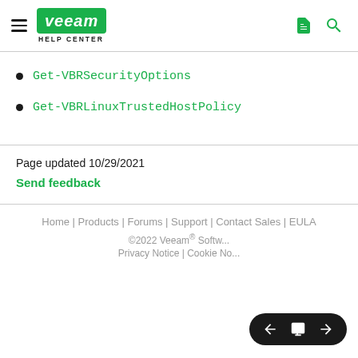Veeam Help Center
Get-VBRSecurityOptions
Get-VBRLinuxTrustedHostPolicy
Page updated 10/29/2021
Send feedback
Home | Products | Forums | Support | Contact Sales | EULA
©2022 Veeam® Softw... Privacy Notice | Cookie No...